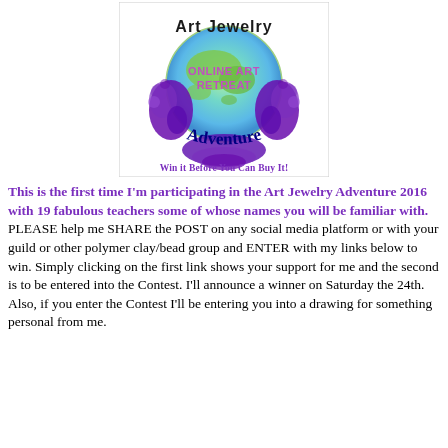[Figure (logo): Art Jewelry Adventure Online Art Retreat logo — colorful globe with decorative purple swirls, text 'Art Jewelry' at top, 'Online Art Retreat' in center, 'Adventure' in arc at bottom, tagline 'Win it Before You Can Buy It!' below in purple]
This is the first time I'm participating in the Art Jewelry Adventure 2016 with 19 fabulous teachers some of whose names you will be familiar with. PLEASE help me SHARE the POST on any social media platform or with your guild or other polymer clay/bead group and ENTER with my links below to win. Simply clicking on the first link shows your support for me and the second is to be entered into the Contest. I'll announce a winner on Saturday the 24th. Also, if you enter the Contest I'll be entering you into a drawing for something personal from me.